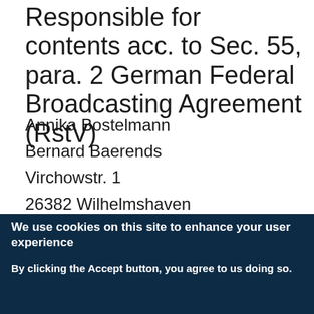Responsible for contents acc. to Sec. 55, para. 2 German Federal Broadcasting Agreement (RstV)
Annika Bostelmann
Bernard Baerends
Virchowstr. 1
26382 Wilhelmshaven
Dispute resolution
We do not take part in online dispute resolutions at consumer arbitration boards.
We use cookies on this site to enhance your user experience
By clicking the Accept button, you agree to us doing so.
Give me more info
OK, I agree
No, thanks